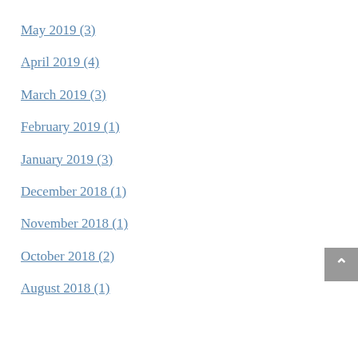May 2019 (3)
April 2019 (4)
March 2019 (3)
February 2019 (1)
January 2019 (3)
December 2018 (1)
November 2018 (1)
October 2018 (2)
August 2018 (1)